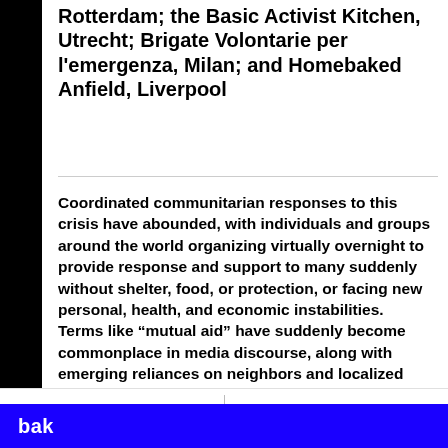Rotterdam; the Basic Activist Kitchen, Utrecht; Brigate Volontarie per l'emergenza, Milan; and Homebaked Anfield, Liverpool
Coordinated communitarian responses to this crisis have abounded, with individuals and groups around the world organizing virtually overnight to provide response and support to many suddenly without shelter, food, or protection, or facing new personal, health, and economic instabilities. Terms like “mutual aid” have suddenly become commonplace in media discourse, along with emerging reliances on neighbors and localized networks.
menu   search
bak